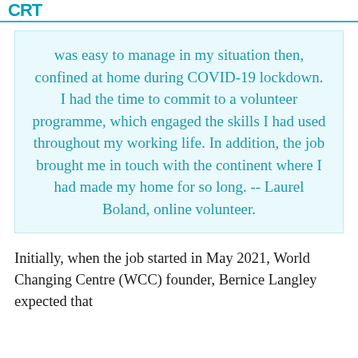CRT
was easy to manage in my situation then, confined at home during COVID-19 lockdown. I had the time to commit to a volunteer programme, which engaged the skills I had used throughout my working life. In addition, the job brought me in touch with the continent where I had made my home for so long. -- Laurel Boland, online volunteer.
Initially, when the job started in May 2021, World Changing Centre (WCC) founder, Bernice Langley expected that